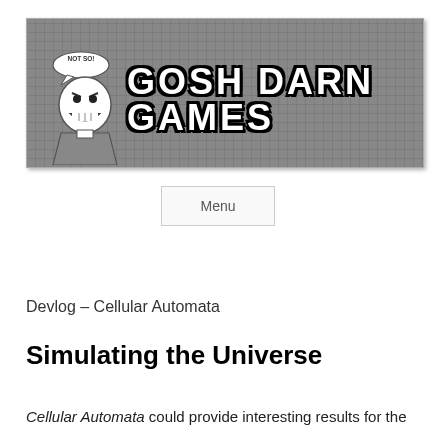[Figure (illustration): Gosh Darn Games website header banner with gray grid background, cartoon character on left (angry face with speech bubble saying 'NOT SO!'), and bold white text 'GOSH DARN GAMES' with black outline on right]
Menu
Devlog – Cellular Automata
Simulating the Universe
Cellular Automata could provide interesting results for the